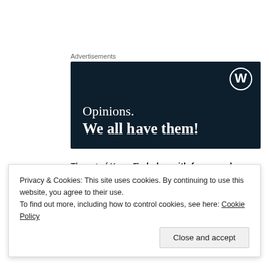Advertisements
[Figure (illustration): WordPress advertisement banner on dark navy background with WordPress logo (W in circle) in top right corner. Text reads 'Opinions. We all have them!']
The art of Kung Fu helps with focus and concentration in your kid.  My little lovejoy has expressed to me that they were taught about
Privacy & Cookies: This site uses cookies. By continuing to use this website, you agree to their use.
To find out more, including how to control cookies, see here: Cookie Policy
Close and accept